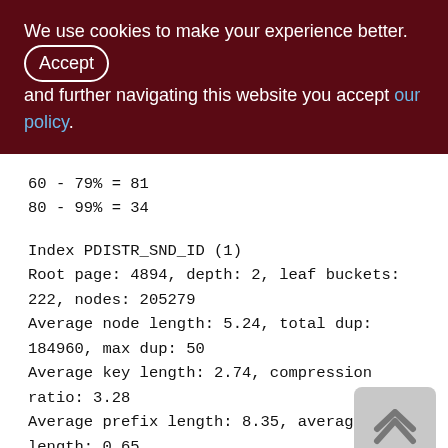We use cookies to make your experience better. By accepting and further navigating this website you accept our policy.
60 - 79% = 81
80 - 99% = 34

Index PDISTR_SND_ID (1)
Root page: 4894, depth: 2, leaf buckets: 222, nodes: 205279
Average node length: 5.24, total dup: 184960, max dup: 50
Average key length: 2.74, compression ratio: 3.28
Average prefix length: 8.35, average data length: 0.65